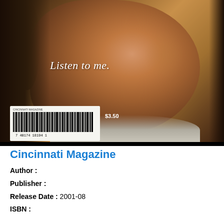[Figure (photo): Close-up photograph of a young Black man's face against a dark background, with text 'Listen to me.' overlaid in italic white serif font. A barcode and price tag ($3.50) appear in the lower left corner of the image.]
Cincinnati Magazine
Author :
Publisher :
Release Date : 2001-08
ISBN :